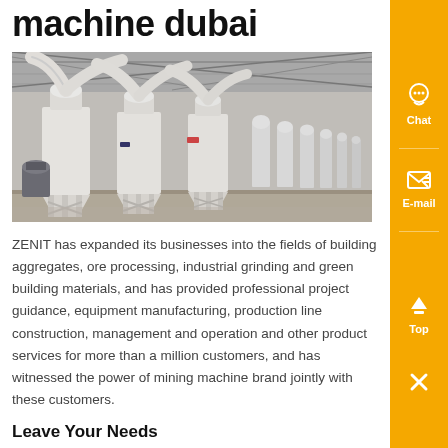machine dubai
[Figure (photo): Industrial grinding machines lined up inside a large warehouse/factory, with white cyclone dust collectors and piping systems, steel framework visible overhead]
ZENIT has expanded its businesses into the fields of building aggregates, ore processing, industrial grinding and green building materials, and has provided professional project guidance, equipment manufacturing, production line construction, management and operation and other product services for more than a million customers, and has witnessed the power of mining machine brand jointly with these customers.
Leave Your Needs